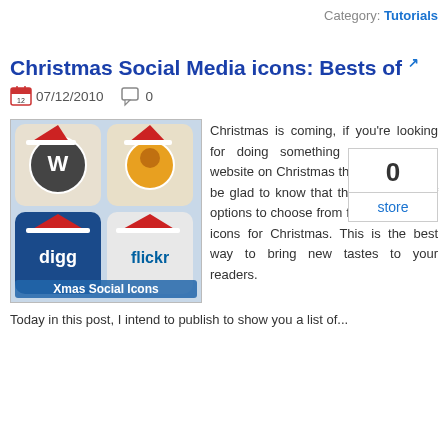Category: Tutorials
Christmas Social Media icons: Bests of
07/12/2010   0
[Figure (other): Store widget box showing number 0 and label 'store']
[Figure (photo): Xmas Social Icons image showing WordPress, Delicious, Digg, and Flickr icons with Christmas hats and 'Xmas Social Icons' banner]
Christmas is coming, if you're looking for doing something new on your website on Christmas this year; you will be glad to know that there are a lot of options to choose from for social media icons for Christmas. This is the best way to bring new tastes to your readers.
Today in this post, I intend to publish to show you a list of...